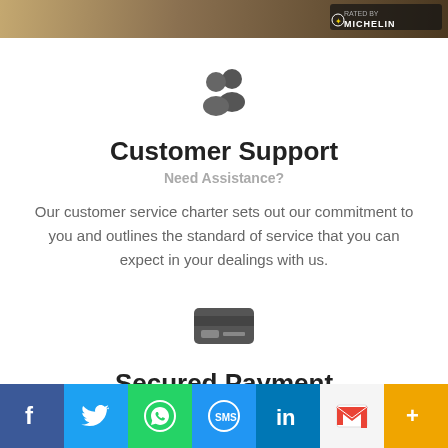[Figure (photo): Top banner with landscape/road image and Michelin logo badge in top right corner]
[Figure (illustration): People/group icon (two silhouetted figures) in dark gray]
Customer Support
Need Assistance?
Our customer service charter sets out our commitment to you and outlines the standard of service that you can expect in your dealings with us.
[Figure (illustration): Credit card icon in dark gray]
Secured Payment
[Figure (infographic): Social media sharing bar with Facebook, Twitter, WhatsApp, SMS, LinkedIn, Gmail, and More buttons]